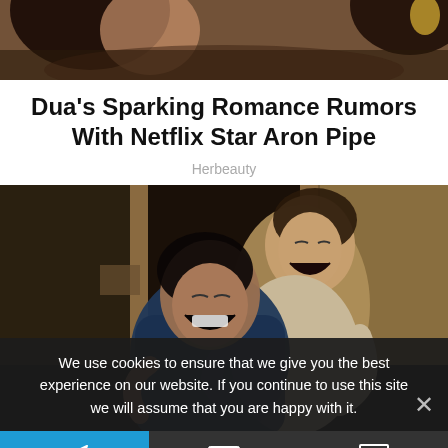[Figure (photo): Top partial photo of a person's face/head at the top of the page]
Dua's Sparking Romance Rumors With Netflix Star Aron Pipe
Herbeauty
[Figure (photo): Two people laughing together in a dim indoor setting; one person is draped over the other's back, both laughing]
We use cookies to ensure that we give you the best experience on our website. If you continue to use this site we will assume that you are happy with it.
Telegram share | Email share | Comment icons in bottom navigation bar